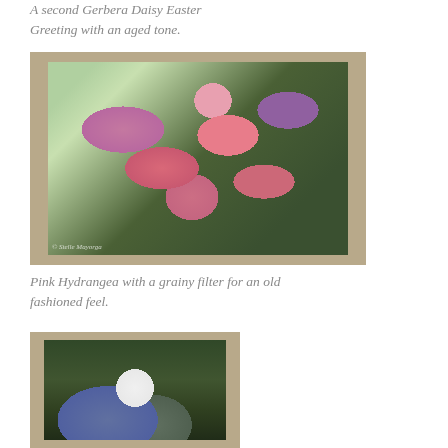A second Gerbera Daisy Easter Greeting with an aged tone.
[Figure (photo): Pink Hydrangea flower close-up greeting card with white mat border, on burlap background, with grainy aged filter applied]
Pink Hydrangea with a grainy filter for an old fashioned feel.
[Figure (photo): Greeting card showing a white round flower (possibly allium or similar) against dark background, with white mat border on burlap background]